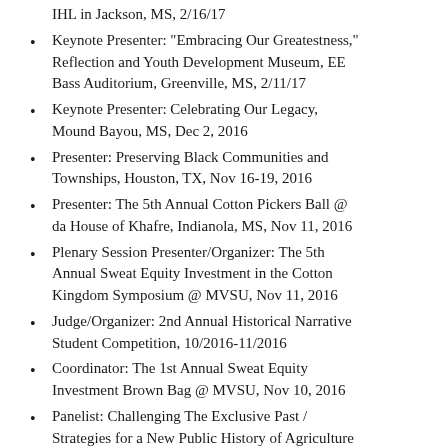IHL in Jackson, MS, 2/16/17
Keynote Presenter: "Embracing Our Greatestness," Reflection and Youth Development Museum, EE Bass Auditorium, Greenville, MS, 2/11/17
Keynote Presenter: Celebrating Our Legacy, Mound Bayou, MS, Dec 2, 2016
Presenter: Preserving Black Communities and Townships, Houston, TX, Nov 16-19, 2016
Presenter: The 5th Annual Cotton Pickers Ball @ da House of Khafre, Indianola, MS, Nov 11, 2016
Plenary Session Presenter/Organizer: The 5th Annual Sweat Equity Investment in the Cotton Kingdom Symposium @ MVSU, Nov 11, 2016
Judge/Organizer: 2nd Annual Historical Narrative Student Competition, 10/2016-11/2016
Coordinator: The 1st Annual Sweat Equity Investment Brown Bag @ MVSU, Nov 10, 2016
Panelist: Challenging The Exclusive Past / Strategies for a New Public History of Agriculture